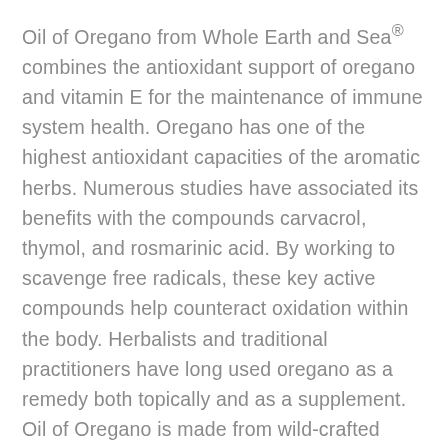Oil of Oregano from Whole Earth and Sea® combines the antioxidant support of oregano and vitamin E for the maintenance of immune system health. Oregano has one of the highest antioxidant capacities of the aromatic herbs. Numerous studies have associated its benefits with the compounds carvacrol, thymol, and rosmarinic acid. By working to scavenge free radicals, these key active compounds help counteract oxidation within the body. Herbalists and traditional practitioners have long used oregano as a remedy both topically and as a supplement. Oil of Oregano is made from wild-crafted Mediterranean oregano, hand-harvested from the Origanum vulgare plant. To maintain the purity and concentration of its active compounds